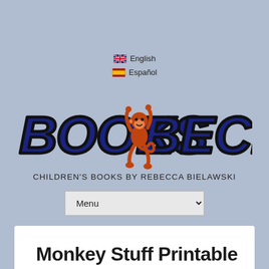🇬🇧 English
🇪🇸 Español
[Figure (logo): Books Beck logo with large blue bubbly lettering 'BOOKS BECK' and an orange cartoon monkey climbing/hanging between the words, on a light steel-blue background]
CHILDREN'S BOOKS BY REBECCA BIELAWSKI
Menu
Monkey Stuff Printable